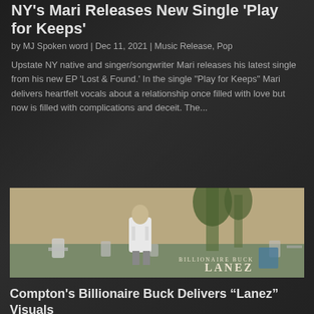NY's Mari Releases New Single 'Play for Keeps'
by MJ Spoken word | Dec 11, 2021 | Music Release, Pop
Upstate NY native and singer/songwriter Mari releases his latest single from his new EP 'Lost & Found.' In the single "Play for Keeps" Mari delivers heartfelt vocals about a relationship once filled with love but now is filled with complications and deceit. The...
[Figure (photo): A person standing in a cemetery, wearing a white jacket, with trees and gravestones in background. Text overlay reads 'BILLIONAIRE BUCK LANEZ']
Compton's Billionaire Buck Delivers “Lanez” Visuals